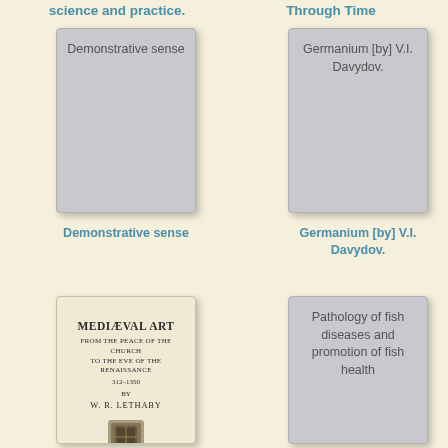science and practice.
Through Time
[Figure (illustration): Book cover placeholder with text 'Demonstrative sense']
[Figure (illustration): Book cover placeholder with text 'Germanium [by] V.I. Davydov.']
Demonstrative sense
Germanium [by] V.I. Davydov.
[Figure (photo): Book cover of 'Mediaeval Art from the Peace of the Church to the Eve of the Renaissance 312-1350' by W. R. Lethaby]
[Figure (illustration): Book cover placeholder with text 'Pathology of fish diseases and promotion of fish health']